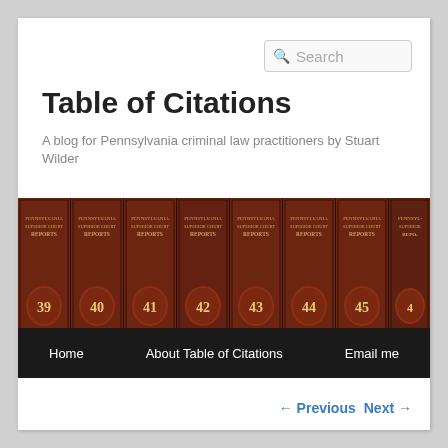Search
Table of Citations
A blog for Pennsylvania criminal law practitioners by Stuart Wilder
[Figure (photo): Row of Pennsylvania Superior Court Reports volumes numbered 39 through 45+ by Schaffer, shown as book spines on a shelf with dark leather covers and gold lettering]
Home   About Table of Citations   Email me
← Previous   Next →